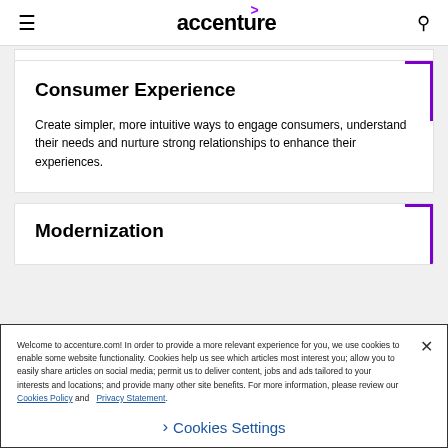accenture
Consumer Experience
Create simpler, more intuitive ways to engage consumers, understand their needs and nurture strong relationships to enhance their experiences.
Modernization
Welcome to accenture.com! In order to provide a more relevant experience for you, we use cookies to enable some website functionality. Cookies help us see which articles most interest you; allow you to easily share articles on social media; permit us to deliver content, jobs and ads tailored to your interests and locations; and provide many other site benefits. For more information, please review our Cookies Policy and Privacy Statement.
Cookies Settings